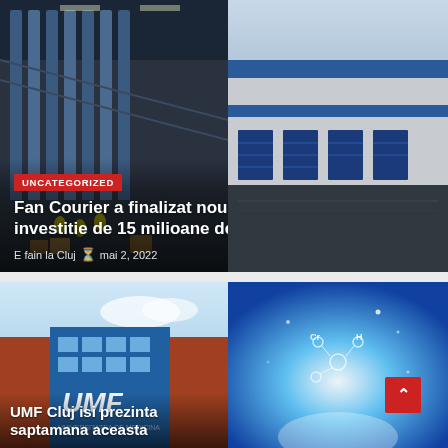[Figure (photo): Top news card with two photos side by side: left shows warehouse/sorting facility interior with workers and conveyor belts, right shows logistics building exterior with blue roll-up doors. Overlay contains category tag, headline, source and date.]
Fan Courier a finalizat noul HUB din Cluj printr-o investitie de 15 milioane de euro. Cum arata. VIDEO
E fain la Cluj  mai 2, 2022
[Figure (photo): Bottom news card with two photos side by side: left shows UMF Cluj university building exterior, red brick with blue glass, UMF sign visible; right shows science/chemistry themed image with molecular structures and glowing blue light.]
UMF Cluj isi prezinta saptamana aceasta